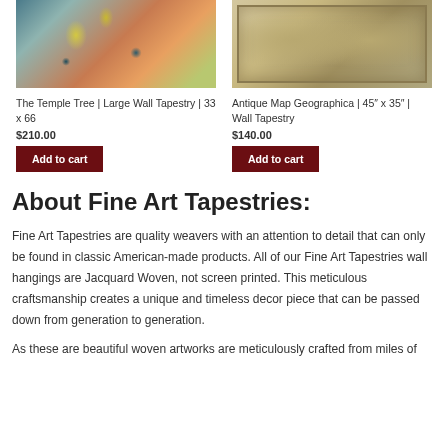[Figure (photo): The Temple Tree tapestry product image showing decorative tree artwork with teal and orange colors]
The Temple Tree | Large Wall Tapestry | 33 x 66
$210.00
Add to cart
[Figure (photo): Antique Map Geographica tapestry product image showing a historical world map with two hemispheres]
Antique Map Geographica | 45″ x 35″ | Wall Tapestry
$140.00
Add to cart
About Fine Art Tapestries:
Fine Art Tapestries are quality weavers with an attention to detail that can only be found in classic American-made products. All of our Fine Art Tapestries wall hangings are Jacquard Woven, not screen printed. This meticulous craftsmanship creates a unique and timeless decor piece that can be passed down from generation to generation.
As these are beautiful woven artworks are meticulously crafted from miles of